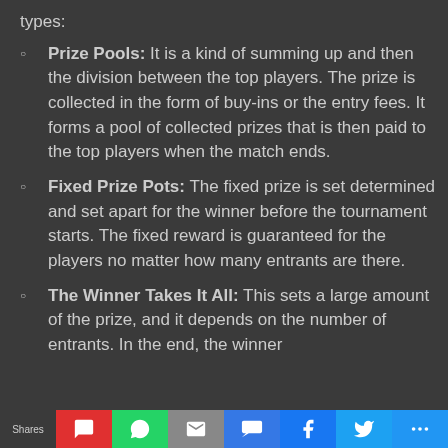types:
Prize Pools: It is a kind of summing up and then the division between the top players. The prize is collected in the form of buy-ins or the entry fees. It forms a pool of collected prizes that is then paid to the top players when the match ends.
Fixed Prize Pots: The fixed prize is set determined and set apart for the winner before the tournament starts. The fixed reward is guaranteed for the players no matter how many entrants are there.
The Winner Takes It All: This sets a large amount of the prize, and it depends on the number of entrants. In the end, the winner
Shares